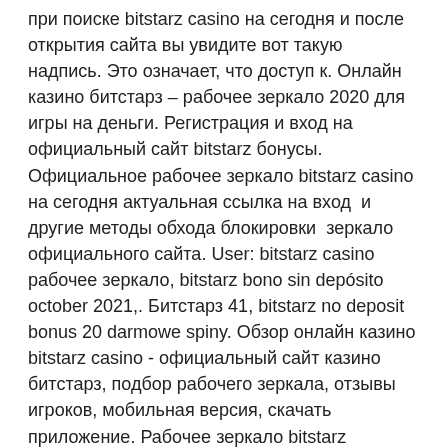при поиске bitstarz casino на сегодня и после открытия сайта вы увидите вот такую надпись. Это означает, что доступ к. Онлайн казино битстарз – рабочее зеркало 2020 для игры на деньги. Регистрация и вход на официальный сайт bitstarz бонусы. Официальное рабочее зеркало bitstarz casino на сегодня актуальная ссылка на вход  и другие методы обхода блокировки  зеркало официального сайта. User: bitstarz casino рабочее зеркало, bitstarz bono sin depósito october 2021,. Битстарз 41, bitstarz no deposit bonus 20 darmowe spiny. Обзор онлайн казино bitstarz casino - официальный сайт казино битстарз, подбор рабочего зеркала, отзывы игроков, мобильная версия, скачать приложение. Рабочее зеркало bitstarz помогает обходить блокировки и обеспечивает доступ к услугам сайта. Если казино заблокировано, этот способ поможет